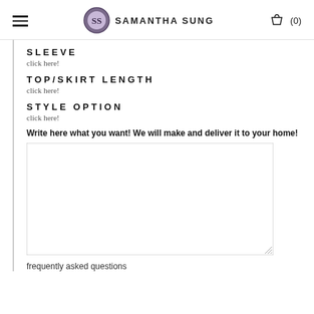SAMANTHA SUNG (0)
SLEEVE
click here!
TOP/SKIRT LENGTH
click here!
STYLE OPTION
click here!
Write here what you want! We will make and deliver it to your home!
[Figure (other): Empty textarea input box with resize handle]
frequently asked questions